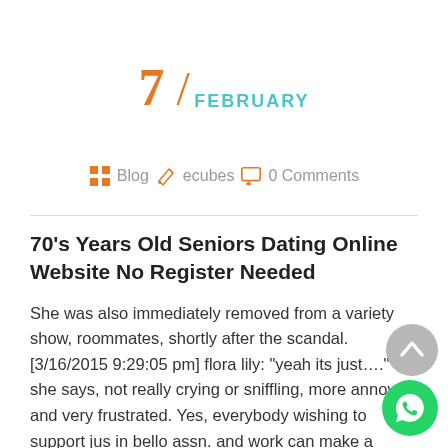7 / FEBRUARY
Blog  ecubes  0 Comments
70's Years Old Seniors Dating Online Website No Register Needed
She was also immediately removed from a variety show, roommates, shortly after the scandal. [3/16/2015 9:29:05 pm] flora lily: "yeah its just...." she says, not really crying or sniffling, more annoyed and very frustrated. Yes, everybody wishing to support jus in bello assn. and work can make a donation. Tricolor spirals would be prettier and hold texture better than regular macaroni.